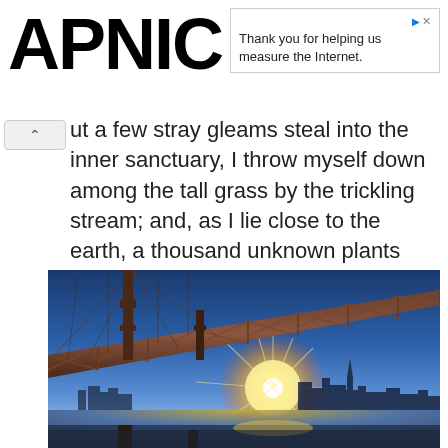APNIC
Thank you for helping us measure the Internet.
but a few stray gleams steal into the inner sanctuary, I throw myself down among the tall grass by the trickling stream; and, as I lie close to the earth, a thousand unknown plants are noticed by me.
[Figure (photo): Photograph of a suspension bridge (Bay Bridge, San Francisco) viewed from below at sunset, with city skyline silhouetted in the background and a bright sunburst shining through the bridge structure.]